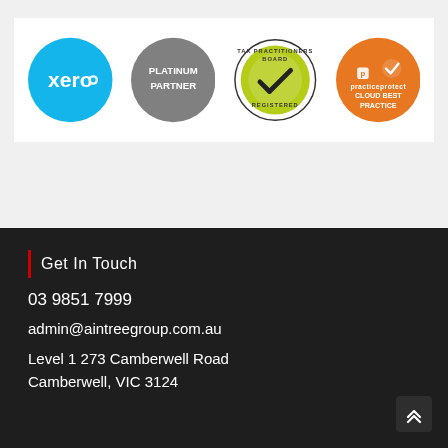[Figure (logo): Four certification/partner logos displayed in a row: Xero (blue circle with xero text and dot), Platinum Partner (gray circle with text), Tax Practitioners Board Registered (circular badge with green and black checkmark), Practice Protect Cloud Best Practice (orange circle with checkmark icon and text)]
Get In Touch
03 9851 7999
admin@aintreegroup.com.au
Level 1 273 Camberwell Road
Camberwell, VIC 3124